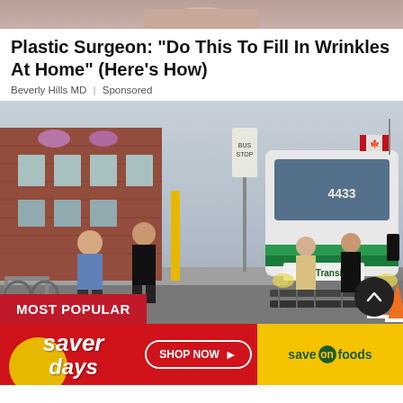[Figure (photo): Top portion of a person (cropped), partially visible at the top of the page]
Plastic Surgeon: “Do This To Fill In Wrinkles At Home” (Here’s How)
Beverly Hills MD | Sponsored
[Figure (photo): A BC Transit bus (number 4433) at a bus stop on a street with pedestrians, brick buildings, hanging flower baskets, a Canadian flag, and traffic cones on the ground. A red 'MOST POPULAR' label overlay appears at the bottom left.]
MOST POPULAR
[Figure (infographic): Saver Days advertisement banner for Save On Foods with red background on left showing 'saver days' text with yellow circle accent, a 'SHOP NOW' button in the middle, and yellow background on right with 'save on foods' logo in green text]